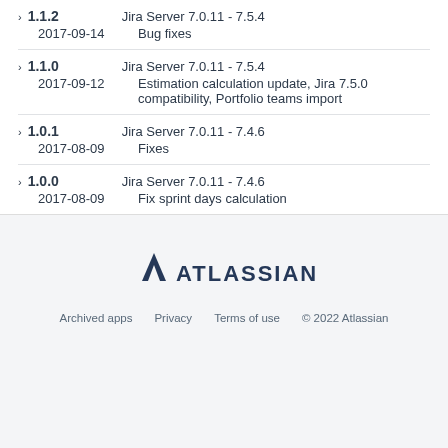1.1.2 | Jira Server 7.0.11 - 7.5.4 | 2017-09-14 | Bug fixes
1.1.0 | Jira Server 7.0.11 - 7.5.4 | 2017-09-12 | Estimation calculation update, Jira 7.5.0 compatibility, Portfolio teams import
1.0.1 | Jira Server 7.0.11 - 7.4.6 | 2017-08-09 | Fixes
1.0.0 | Jira Server 7.0.11 - 7.4.6 | 2017-08-09 | Fix sprint days calculation
[Figure (logo): Atlassian logo with triangle icon and text ATLASSIAN]
Archived apps   Privacy   Terms of use   © 2022 Atlassian